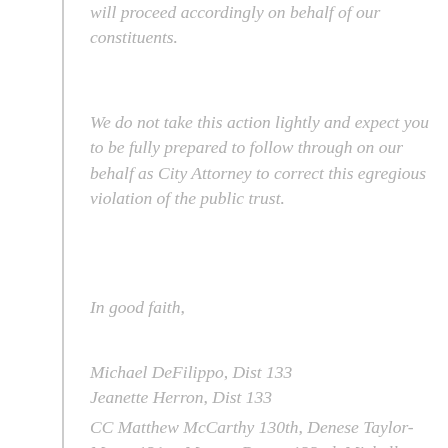will proceed accordingly on behalf of our constituents.
We do not take this action lightly and expect you to be fully prepared to follow through on our behalf as City Attorney to correct this egregious violation of the public trust.
In good faith,
Michael DeFilippo, Dist 133
Jeanette Herron, Dist 133
CC Matthew McCarthy 130th, Denese Taylor-Moye, 131st, Marcus Brown 132nd, Michelle Jones and Mary-Martin Davis, Dist 134th